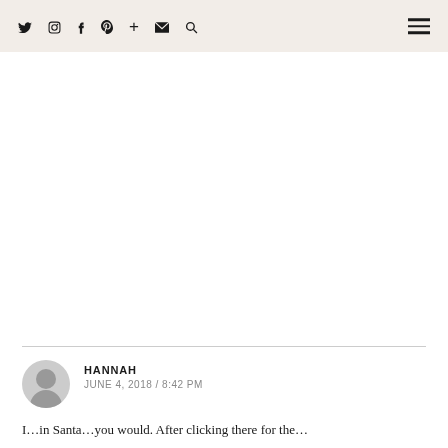Twitter Instagram Facebook Pinterest + Mail Search [hamburger menu]
HANNAH
JUNE 4, 2018 / 8:42 PM
I...in Santa...you would. After clicking there for the...